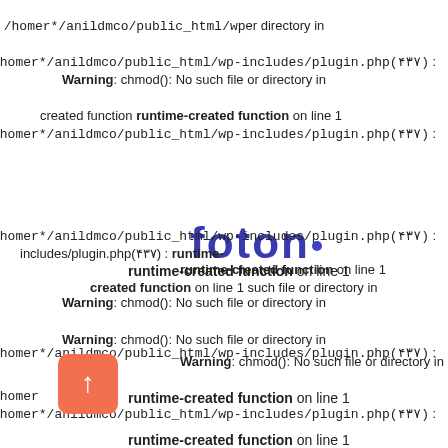in /homer*/anildmco/public_html/wp-er directory in
/homer*/anildmco/public_html/wp-includes/plugin.php(۴۳۷) : Warning: chmod(): No such file or directory in
created function runtime-created function on line 1 /homer*/anildmco/public_html/wp-includes/plugin.php(۴۳۷) :
[Figure (logo): foton logo text in dark blue with a small blue dot]
runtime-created function on line 1
Warning: chmod(): No such file or directory in
/homer*/anildmco/public_html/wp-includes/plugin.php(۴۳۷) : Warning: chmod(): No such file or directory in Warning: chmod(): No such file or directory in in /homer*/anildmco/public_html/wp- runtime-created function on line 1 /homer*/anildmco/public_html/wp-includes/plugin.php(۴۳۷) : includes/plugin.php(۴۳۷) : runtime- runtime-created function on line 1 created function on line 1 Warning: chmod(): No such file or directory in
/homer*/anildmco/public_html/wp-includes/plugin.php(۴۳۷) :
runtime-created function on line 1
Warning: chmod(): No such file or directory in
/homer*/anildmco/public_html/wp-includes/plugin.php(۴۳۷) :
runtime-created function on line 1
[Figure (other): orange rounded square button with upward arrow]